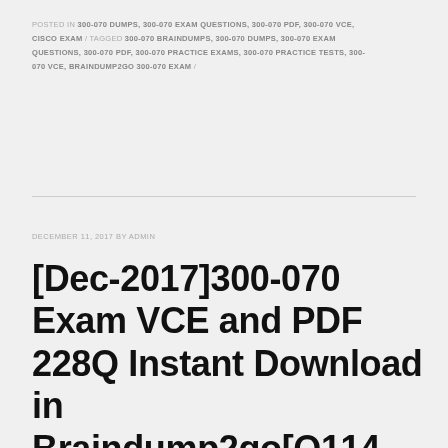POSTED IN 300-070 DUMPS, 300-070 EXAM QUESTIONS, 300-070 PDF, 300-070 VCE, CISCO EXAM / TAGGED 300-070 BRAINDUMPS, 300-070 DUMPS, 300-070 EXAM QUESTIONS, 300-070 PDF, 300-070 PRACTICE EXAMS, 300-070 PRACTICE TESTS, 300-070 VCE, BRAINDUMP2GO 300-070 EXAM /
DECEMBER 11, 2017 BY ADMIN
[Dec-2017]300-070 Exam VCE and PDF 228Q Instant Download in Braindump2go[Q114-Q124]